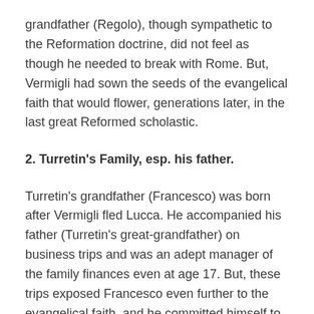grandfather (Regolo), though sympathetic to the Reformation doctrine, did not feel as though he needed to break with Rome. But, Vermigli had sown the seeds of the evangelical faith that would flower, generations later, in the last great Reformed scholastic.
2. Turretin's Family, esp. his father.
Turretin's grandfather (Francesco) was born after Vermigli fled Lucca. He accompanied his father (Turretin's great-grandfather) on business trips and was an adept manager of the family finances even at age 17. But, these trips exposed Francesco even further to the evangelical faith, and he committed himself to it at age 19. Francesco fled Lucca in 1574 when the Inquisition returned. He passed through Lyons, Geneva, Antwerp and Zurich, making significant portions of money at each stop through plying his family's silk trade, before returning to Geneva permanently. Here he continued to prosper, and became an important figure in Geneva, serving on